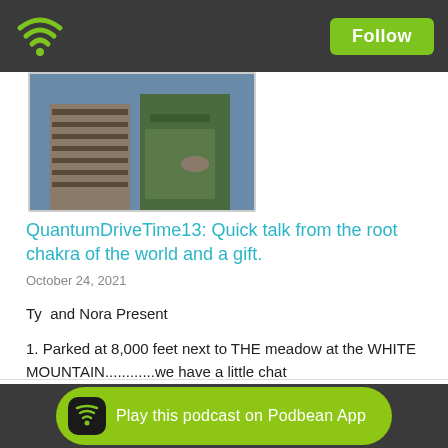Follow
[Figure (photo): Thumbnail photo showing two people outdoors, one wearing a green jacket and striped/patterned clothing]
QuantumDriveTime13: Quick talk from the root chakra of the world and a gift.
October 24, 2021
Ty  and Nora Present
1. Parked at 8,000 feet next to THE meadow at the WHITE MOUNTAIN............we have a little chat
2. A quick little clearing intention at 4:00ish
enjoy!!
Play this podcast on Podbean App